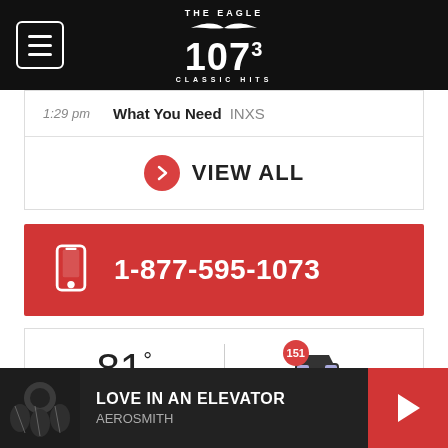THE EAGLE 107.3 CLASSIC HITS
1:29 pm  What You Need  INXS
VIEW ALL
1-877-595-1073
81°
151
LOVE IN AN ELEVATOR
AEROSMITH